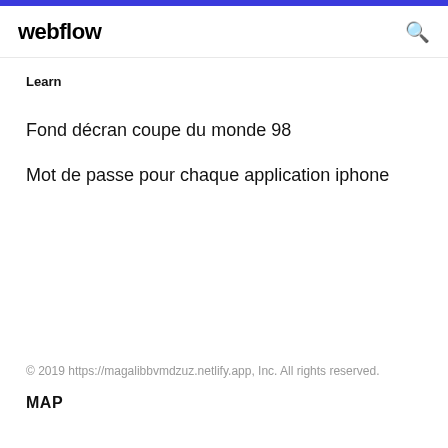webflow
Learn
Fond décran coupe du monde 98
Mot de passe pour chaque application iphone
© 2019 https://magalibbvmdzuz.netlify.app, Inc. All rights reserved.
MAP